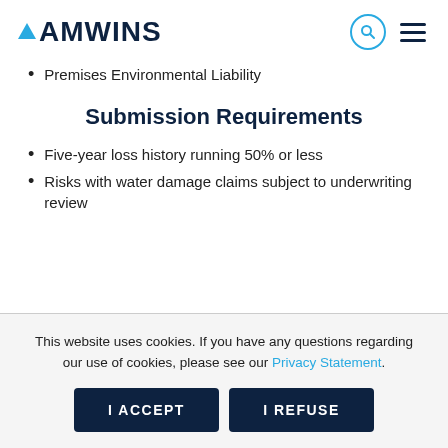AMWINS
Premises Environmental Liability
Submission Requirements
Five-year loss history running 50% or less
Risks with water damage claims subject to underwriting review
This website uses cookies. If you have any questions regarding our use of cookies, please see our Privacy Statement.
I ACCEPT
I REFUSE